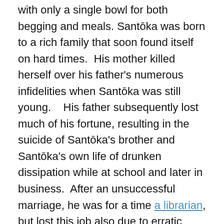with only a single bowl for both begging and meals. Santōka was born to a rich family that soon found itself on hard times.  His mother killed herself over his father's numerous infidelities when Santōka was still young.   His father subsequently lost much of his fortune, resulting in the suicide of Santōka's brother and Santōka's own life of drunken dissipation while at school and later in business.  After an unsuccessful marriage, he was for a time a librarian, but lost this job also due to erratic living.  Finally, after an unsuccessful suiced attempt he was taken to a Zen temple, where he managed to pull himself together.
Here are some examples of Santōka's haiku:
Young men march away—
The mountain greenness